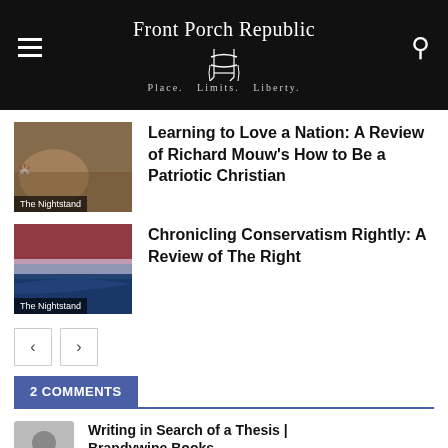Front Porch Republic — Place. Limits. Liberty.
Learning to Love a Nation: A Review of Richard Mouw's How to Be a Patriotic Christian
Chronicling Conservatism Rightly: A Review of The Right
2 COMMENTS
Writing in Search of a Thesis | Brandywine Books
September 3, 2020 At 8:24 pm
[…] Woodlief reviews a book that claims